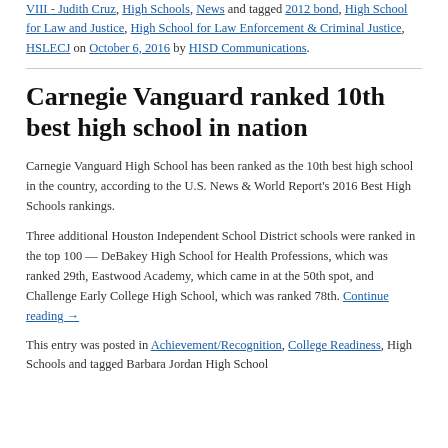VIII - Judith Cruz, High Schools, News and tagged 2012 bond, High School for Law and Justice, High School for Law Enforcement & Criminal Justice, HSLECJ on October 6, 2016 by HISD Communications.
Carnegie Vanguard ranked 10th best high school in nation
Carnegie Vanguard High School has been ranked as the 10th best high school in the country, according to the U.S. News & World Report's 2016 Best High Schools rankings.
Three additional Houston Independent School District schools were ranked in the top 100 — DeBakey High School for Health Professions, which was ranked 29th, Eastwood Academy, which came in at the 50th spot, and Challenge Early College High School, which was ranked 78th. Continue reading →
This entry was posted in Achievement/Recognition, College Readiness, High Schools and tagged Barbara Jordan High School